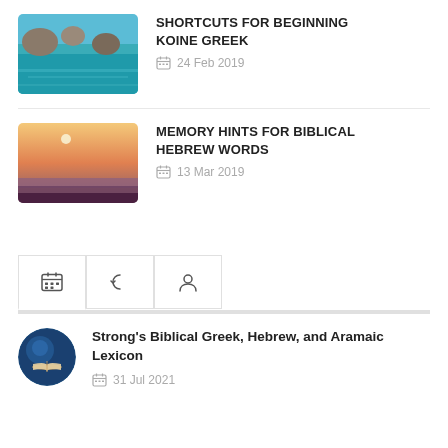[Figure (photo): Rocky coastline with turquoise water]
SHORTCUTS FOR BEGINNING KOINE GREEK
24 Feb 2019
[Figure (photo): Desert/sea sunset landscape with moon]
MEMORY HINTS FOR BIBLICAL HEBREW WORDS
13 Mar 2019
[Figure (illustration): Circular avatar with open book on blue background]
Strong's Biblical Greek, Hebrew, and Aramaic Lexicon
31 Jul 2021